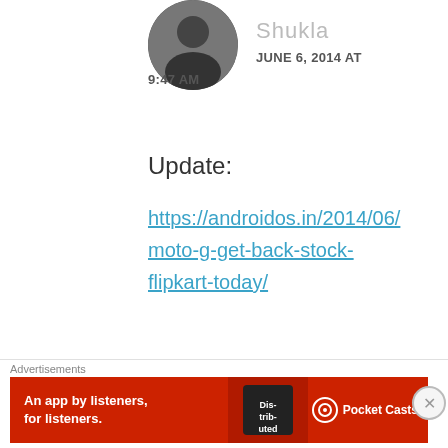[Figure (photo): Circular avatar photo of a person wearing a dark shirt, shown from shoulders up]
Shukla
JUNE 6, 2014 AT 9:47 AM
Update:
https://androidos.in/2014/06/moto-g-get-back-stock-flipkart-today/
Like
Advertisements
[Figure (screenshot): Dark navy blue banner with WordPress logo (W in circle)]
Advertisements
[Figure (screenshot): Red advertisement banner for Pocket Casts podcast app reading 'An app by listeners, for listeners.' with Pocket Casts logo and close button]